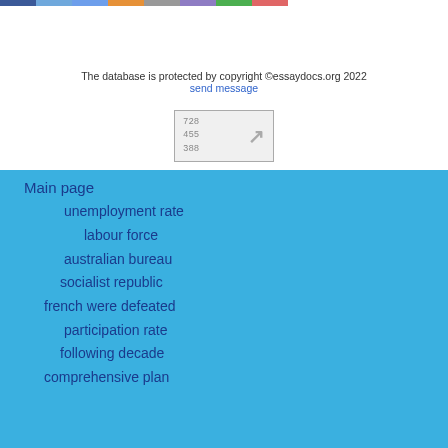[Figure (other): Colored bar strip at top of page with 8 color segments]
The database is protected by copyright ©essaydocs.org 2022
send message
[Figure (other): Counter box showing numbers 728, 455, 388 with an arrow icon]
Main page
unemployment rate
labour force
australian bureau
socialist republic
french were defeated
participation rate
following decade
comprehensive plan